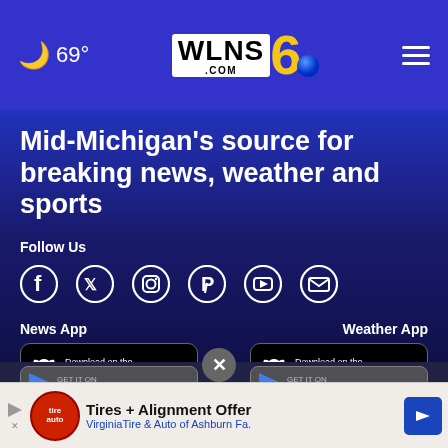🌙 69° | WLNS 6 .COM | ≡
Mid-Michigan's source for breaking news, weather and sports
Follow Us
[Figure (infographic): Social media icons: Facebook, Twitter, Instagram, Pinterest, YouTube, Email]
News App
[Figure (screenshot): Download on the App Store button (black, rounded rectangle)]
Weather App
[Figure (screenshot): Download on the App Store button (black, rounded rectangle)]
[Figure (other): Google Play partial download button row]
[Figure (infographic): Advertisement banner: Tires + Alignment Offer - VirginiaTire & Auto of Ashburn Fa.]